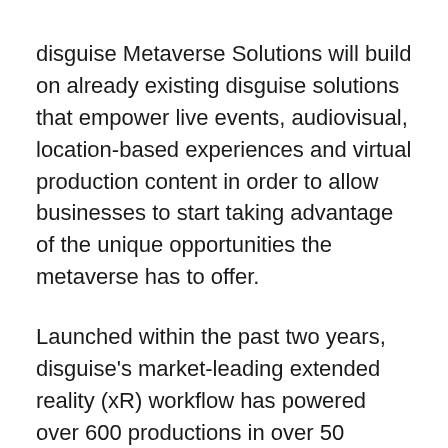disguise Metaverse Solutions will build on already existing disguise solutions that empower live events, audiovisual, location-based experiences and virtual production content in order to allow businesses to start taking advantage of the unique opportunities the metaverse has to offer.
Launched within the past two years, disguise's market-leading extended reality (xR) workflow has powered over 600 productions in over 50 countries. These include the delivery of live events in the metaverse, such as Kaskade's in Fortnite and Rocket League as part of its Llama-Rama event series as well as supporting launches for major brands like Gucci and Ferrari.
disguise will further leverage their extended reality solution together with their partnerships with metaverse event enablers